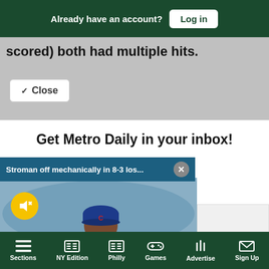Already have an account? Log in
scored) both had multiple hits.
Close
Get Metro Daily in your inbox!
Join the tens of thousands who stay up-to-date with Metro Daily newsletters.
Stroman off mechanically in 8-3 los...
[Figure (photo): Baseball pitcher in Chicago Cubs pinstripe uniform mid-throw, wearing blue cap with C logo. Yellow mute button overlay visible in lower left.]
tter
Sections | NY Edition | Philly | Games | Advertise | Sign Up